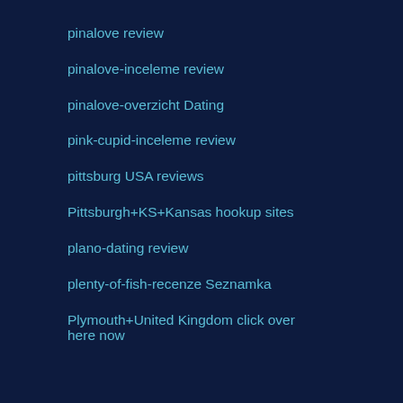pinalove review
pinalove-inceleme review
pinalove-overzicht Dating
pink-cupid-inceleme review
pittsburg USA reviews
Pittsburgh+KS+Kansas hookup sites
plano-dating review
plenty-of-fish-recenze Seznamka
Plymouth+United Kingdom click over here now